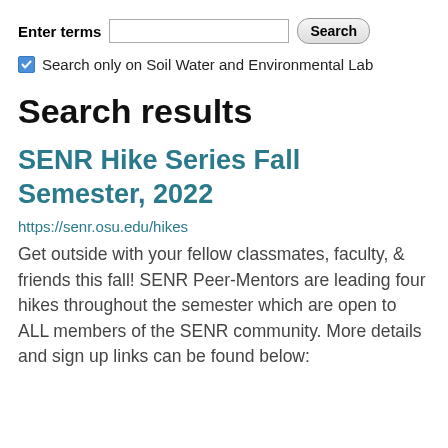Enter terms [search input] Search
Search only on Soil Water and Environmental Lab
Search results
SENR Hike Series Fall Semester, 2022
https://senr.osu.edu/hikes
Get outside with your fellow classmates, faculty, & friends this fall! SENR Peer-Mentors are leading four hikes throughout the semester which are open to ALL members of the SENR community. More details and sign up links can be found below: